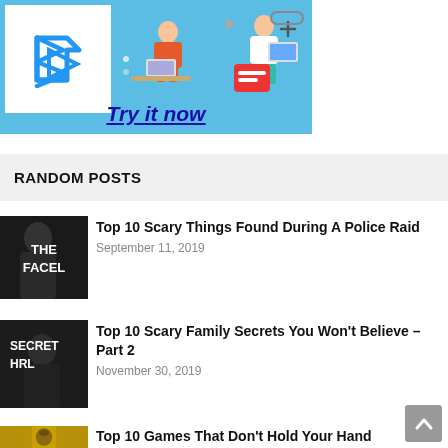[Figure (illustration): Ad banner with blue background, white box containing a blue play/forward icon on the left, and an illustration of two people working on laptops with chat/interface elements on the right. Below the illustration is the text 'Try it now' in bold italic underlined dark blue font.]
RANDOM POSTS
[Figure (photo): Thumbnail image showing a person in black and white with text 'THE FACEL...' overlaid in white.]
Top 10 Scary Things Found During A Police Raid
September 11, 2019
[Figure (photo): Thumbnail image of a person in dark tones with text 'SECRET HRL' overlaid in white.]
Top 10 Scary Family Secrets You Won't Believe – Part 2
November 30, 2019
[Figure (photo): Thumbnail image with yellow/gold tones showing a creature or character.]
Top 10 Games That Don't Hold Your Hand
May 8, 2019